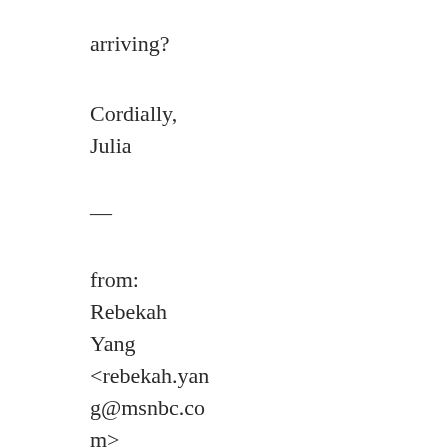arriving?
Cordially,
Julia
—
from:
Rebekah Yang
<rebekah.yang@msnbc.com>
to: Julia Lee Jones